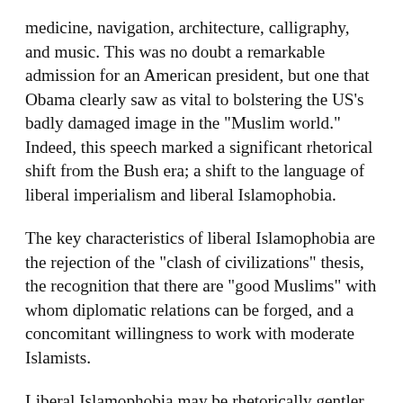medicine, navigation, architecture, calligraphy, and music. This was no doubt a remarkable admission for an American president, but one that Obama clearly saw as vital to bolstering the US's badly damaged image in the "Muslim world." Indeed, this speech marked a significant rhetorical shift from the Bush era; a shift to the language of liberal imperialism and liberal Islamophobia.
The key characteristics of liberal Islamophobia are the rejection of the "clash of civilizations" thesis, the recognition that there are "good Muslims" with whom diplomatic relations can be forged, and a concomitant willingness to work with moderate Islamists.
Liberal Islamophobia may be rhetorically gentler but it reserves the right of the U.S. to wage war against "Islamic terrorism" around the world, with no respect for the right of self-determination by people in the countries it targets. It is the "white man's burden" in sheep's clothing.